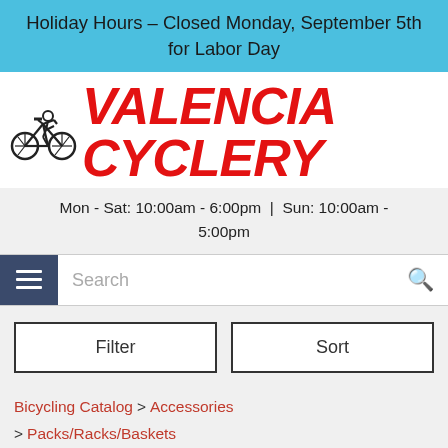Holiday Hours – Closed Monday, September 5th for Labor Day
[Figure (logo): Valencia Cyclery logo with cyclist icon and bold red italic text]
Mon - Sat: 10:00am - 6:00pm | Sun: 10:00am - 5:00pm
Search
Filter
Sort
Bicycling Catalog > Accessories > Packs/Racks/Baskets
Racks